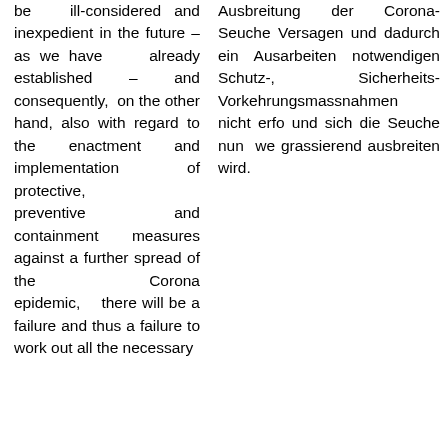be ill-considered and inexpedient in the future – as we have already established – and consequently, on the other hand, also with regard to the enactment and implementation of protective, preventive and containment measures against a further spread of the Corona epidemic, there will be a failure and thus a failure to work out all the necessary
Ausbreitung der Corona-Seuche Versagen und dadurch ein Ausarbeiten notwendigen Schutz-, Sicherheits- Vorkehrungsmassnahmen nicht erfo und sich die Seuche nun we grassierend ausbreiten wird.